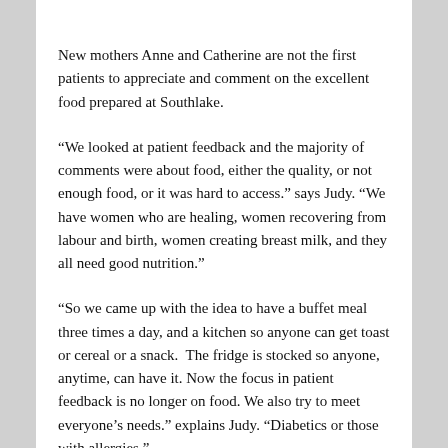New mothers Anne and Catherine are not the first patients to appreciate and comment on the excellent food prepared at Southlake.
“We looked at patient feedback and the majority of comments were about food, either the quality, or not enough food, or it was hard to access.” says Judy. “We have women who are healing, women recovering from labour and birth, women creating breast milk, and they all need good nutrition.”
“So we came up with the idea to have a buffet meal three times a day, and a kitchen so anyone can get toast or cereal or a snack.  The fridge is stocked so anyone, anytime, can have it. Now the focus in patient feedback is no longer on food. We also try to meet everyone’s needs.” explains Judy. “Diabetics or those with allergies.”
Southlake demonstrates another contemporary approach to wellness by embracing the growing trend in midwifery.